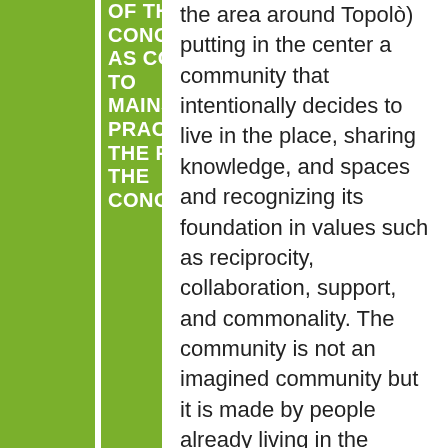OF THE CONCEPT/ID AS COMPARED TO MAINSTREAM PRACTICES THE FIELD OF THE CONCEPT/ID
the area around Topolò) putting in the center a community that intentionally decides to live in the place, sharing knowledge, and spaces and recognizing its foundation in values such as reciprocity, collaboration, support, and commonality. The community is not an imagined community but it is made by people already living in the village and people cyclically coming back, to whom Topolò is their heart-quarter.